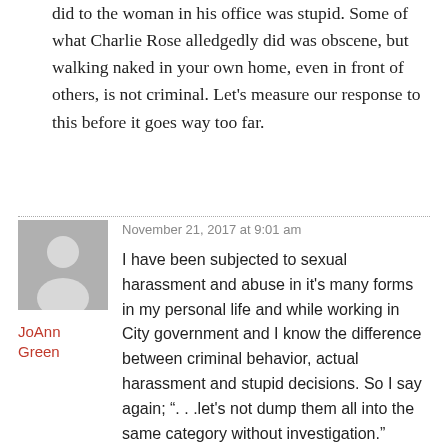did to the woman in his office was stupid. Some of what Charlie Rose alledgedly did was obscene, but walking naked in your own home, even in front of others, is not criminal. Let’s measure our response to this before it goes way too far.
November 21, 2017 at 9:01 am
[Figure (illustration): Generic grey avatar silhouette icon for user JoAnn Green]
JoAnn Green
I have been subjected to sexual harassment and abuse in it’s many forms in my personal life and while working in City government and I know the difference between criminal behavior, actual harassment and stupid decisions. So I say again; “. . .let’s not dump them all into the same category without investigation."